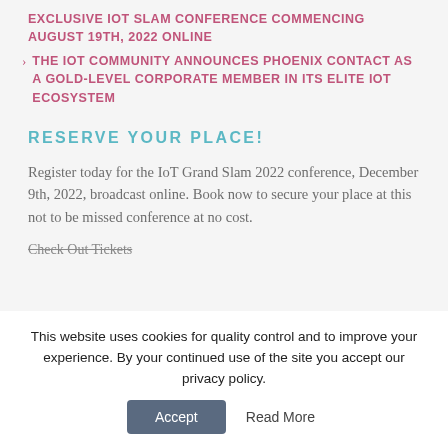EXCLUSIVE IOT SLAM CONFERENCE COMMENCING AUGUST 19TH, 2022 ONLINE
THE IOT COMMUNITY ANNOUNCES PHOENIX CONTACT AS A GOLD-LEVEL CORPORATE MEMBER IN ITS ELITE IOT ECOSYSTEM
RESERVE YOUR PLACE!
Register today for the IoT Grand Slam 2022 conference, December 9th, 2022, broadcast online. Book now to secure your place at this not to be missed conference at no cost.
Check Out Tickets
This website uses cookies for quality control and to improve your experience. By your continued use of the site you accept our privacy policy.